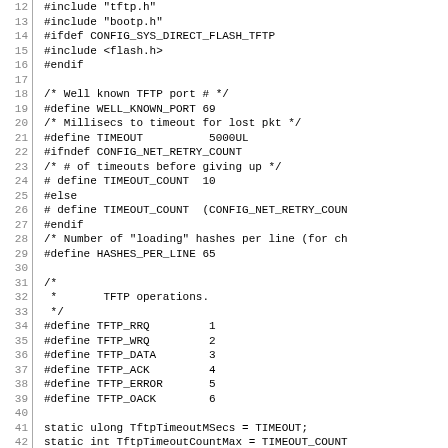Source code listing lines 12-42 of a C header file with TFTP definitions